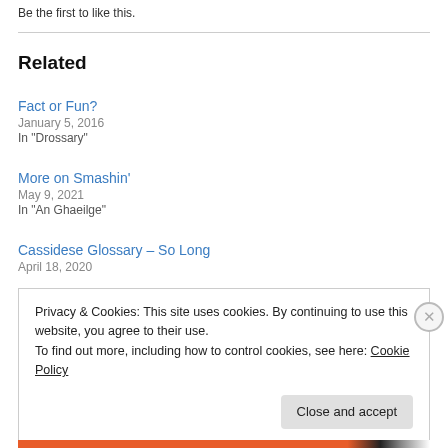Be the first to like this.
Related
Fact or Fun?
January 5, 2016
In "Drossary"
More on Smashin'
May 9, 2021
In "An Ghaeilge"
Cassidese Glossary – So Long
April 18, 2020
Privacy & Cookies: This site uses cookies. By continuing to use this website, you agree to their use.
To find out more, including how to control cookies, see here: Cookie Policy
Close and accept